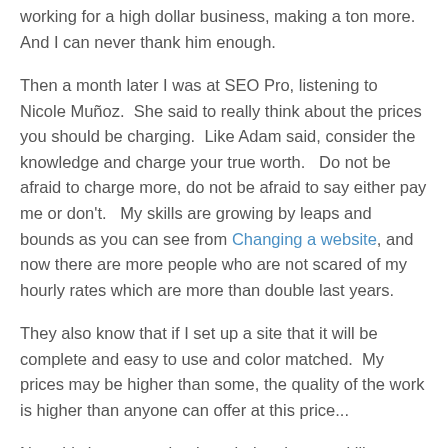working for a high dollar business, making a ton more.  And I can never thank him enough.
Then a month later I was at SEO Pro, listening to Nicole Muñoz.  She said to really think about the prices you should be charging.  Like Adam said, consider the knowledge and charge your true worth.   Do not be afraid to charge more, do not be afraid to say either pay me or don't.   My skills are growing by leaps and bounds as you can see from Changing a website, and now there are more people who are not scared of my hourly rates which are more than double last years.
They also know that if I set up a site that it will be complete and easy to use and color matched.  My prices may be higher than some, the quality of the work is higher than anyone can offer at this price...
Now this is not ego, but knowledge that my skills were built with a lot of perspiration and inspiration.   My skills